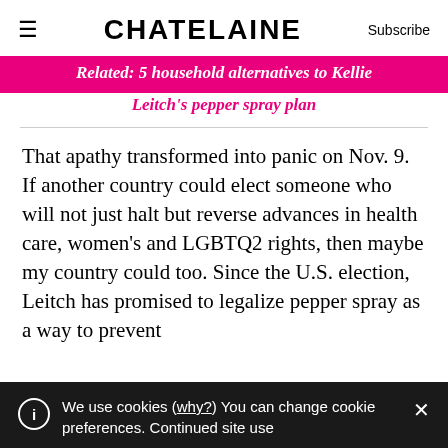≡  CHATELAINE  Subscribe
Related: 5 household alternatives to Kellie Leitch's pepper spray plan
That apathy transformed into panic on Nov. 9. If another country could elect someone who will not just halt but reverse advances in health care, women's and LGBTQ2 rights, then maybe my country could too. Since the U.S. election, Leitch has promised to legalize pepper spray as a way to prevent
We use cookies (why?) You can change cookie preferences. Continued site use